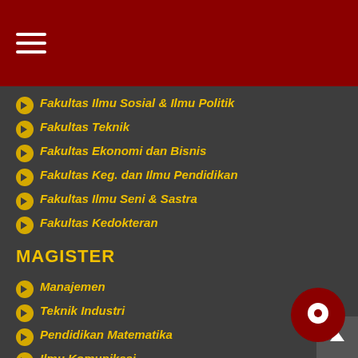≡ (hamburger menu)
Fakultas Ilmu Sosial & Ilmu Politik
Fakultas Teknik
Fakultas Ekonomi dan Bisnis
Fakultas Keg. dan Ilmu Pendidikan
Fakultas Ilmu Seni & Sastra
Fakultas Kedokteran
MAGISTER
Manajemen
Teknik Industri
Pendidikan Matematika
Ilmu Komunikasi
Pendidikan Bah. & Sastra Indonesia
Administrasi & Kebijakan Publik
Notariat